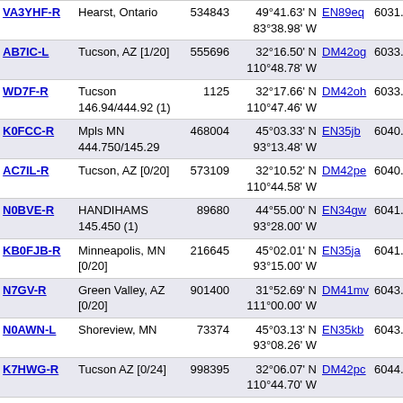| Callsign | Location | Count | Coordinates | Grid | Miles |
| --- | --- | --- | --- | --- | --- |
| VA3YHF-R | Hearst, Ontario | 534843 | 49°41.63' N 83°38.98' W | EN89eq | 6031.6 |
| AB7IC-L | Tucson, AZ [1/20] | 555696 | 32°16.50' N 110°48.78' W | DM42og | 6033.2 |
| WD7F-R | Tucson 146.94/444.92 (1) | 1125 | 32°17.66' N 110°47.46' W | DM42oh | 6033.3 |
| K0FCC-R | Mpls MN 444.750/145.29 | 468004 | 45°03.33' N 93°13.48' W | EN35jb | 6040.9 |
| AC7IL-R | Tucson, AZ [0/20] | 573109 | 32°10.52' N 110°44.58' W | DM42pe | 6040.9 |
| N0BVE-R | HANDIHAMS 145.450 (1) | 89680 | 44°55.00' N 93°28.00' W | EN34gw | 6041.1 |
| KB0FJB-R | Minneapolis, MN [0/20] | 216645 | 45°02.01' N 93°15.00' W | EN35ja | 6041.3 |
| N7GV-R | Green Valley, AZ [0/20] | 901400 | 31°52.69' N 111°00.00' W | DM41mv | 6043.4 |
| N0AWN-L | Shoreview, MN | 73374 | 45°03.13' N 93°08.26' W | EN35kb | 6043.7 |
| K7HWG-R | Tucson AZ [0/24] | 998395 | 32°06.07' N 110°44.70' W | DM42pc | 6044.2 |
| K0EPR-R | Eden Prairie, MN | 648417 | 44°50.82' N 93°27.43' W | EN34gu | 6045.2 |
| K9MLS-L | St Paul, MN [0/5] | 194056 | 44°59.36' N 93°04.57' W | EN34lx | 6048.9 |
| KG7HHG-L | Vail, AZ [0/20] | 404252 | 32°00.06' N 110°41.94' W | DM42pa | 6050.9 |